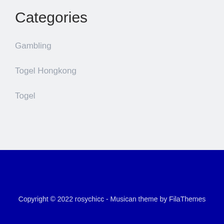Categories
Gambling
Togel Hongkong
Togel
Copyright © 2022 rosychicc - Musican theme by FilaThemes